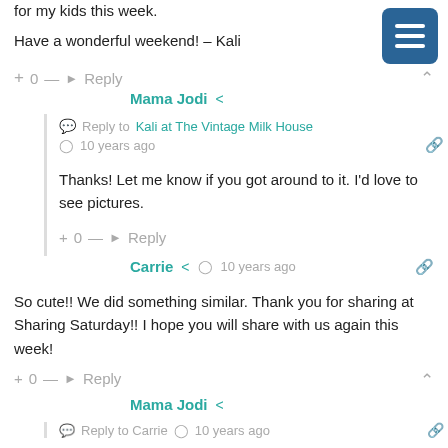for my kids this week.
Have a wonderful weekend! – Kali
+ 0 — Reply
Mama Jodi
Reply to Kali at The Vintage Milk House
10 years ago
Thanks! Let me know if you got around to it. I'd love to see pictures.
+ 0 — Reply
Carrie  10 years ago
So cute!! We did something similar. Thank you for sharing at Sharing Saturday!! I hope you will share with us again this week!
+ 0 — Reply
Mama Jodi
Reply to Carrie  10 years ago